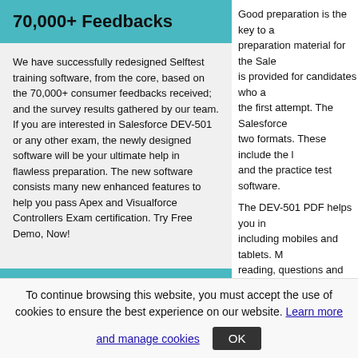70,000+ Feedbacks
We have successfully redesigned Selftest training software, from the core, based on the 70,000+ consumer feedbacks received; and the survey results gathered by our team. If you are interested in Salesforce DEV-501 or any other exam, the newly designed software will be your ultimate help in flawless preparation. The new software consists many new enhanced features to help you pass Apex and Visualforce Controllers Exam certification. Try Free Demo, Now!
Popular Exams
| CompTIA | Microsoft | VMware |
| --- | --- | --- |
| N10-006 | SY0-401 | JK0-801 |
Good preparation is the key to a preparation material for the Sale is provided for candidates who a the first attempt. The Salesforce two formats. These include the l and the practice test software.
The DEV-501 PDF helps you in including mobiles and tablets. M reading, questions and answers practice test software simulates can practice for the actual Sales documentation to explore the fe
Your success is guarant
Once you make the purchase, w Salesforce exam material includ regularly to meet the requiremer syllabus. Our experts strive hard questions.
Seamless after Sale Se
We give our customers, support industry. Our help is available to that you face with the DEV 501
To continue browsing this website, you must accept the use of cookies to ensure the best experience on our website. Learn more and manage cookies